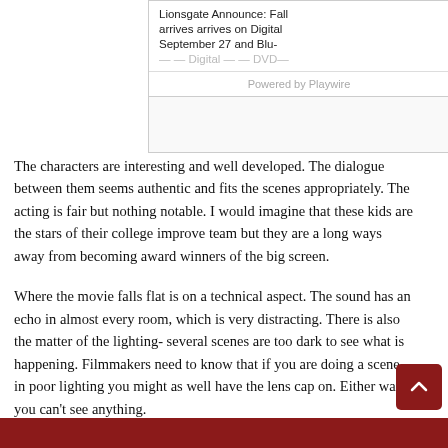[Figure (screenshot): Partial advertisement or widget box with truncated text 'Lionsgate Announce: Fall arrives arrives on Digital September 27 and Blu- ...' and 'Powered by Playwire' label, plus an empty gray area below.]
The characters are interesting and well developed. The dialogue between them seems authentic and fits the scenes appropriately. The acting is fair but nothing notable. I would imagine that these kids are the stars of their college improve team but they are a long ways away from becoming award winners of the big screen.
Where the movie falls flat is on a technical aspect. The sound has an echo in almost every room, which is very distracting. There is also the matter of the lighting- several scenes are too dark to see what is happening. Filmmakers need to know that if you are doing a scene in poor lighting you might as well have the lens cap on. Either way you can't see anything.